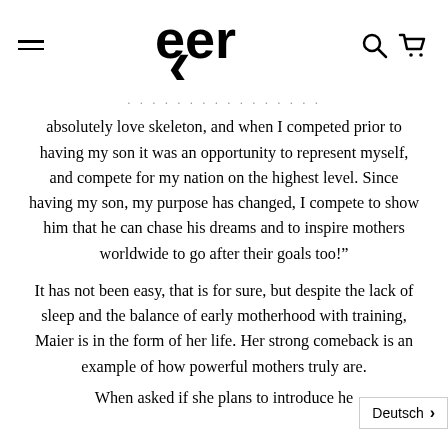eer (logo with hamburger menu, search and cart icons)
absolutely love skeleton, and when I competed prior to having my son it was an opportunity to represent myself, and compete for my nation on the highest level. Since having my son, my purpose has changed, I compete to show him that he can chase his dreams and to inspire mothers worldwide to go after their goals too!"
It has not been easy, that is for sure, but despite the lack of sleep and the balance of early motherhood with training, Maier is in the form of her life. Her strong comeback is an example of how powerful mothers truly are.
When asked if she plans to introduce he